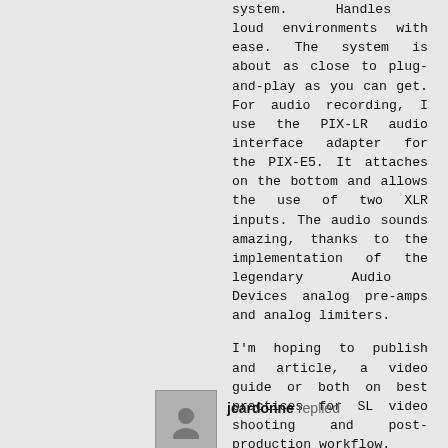system. Handles loud environments with ease. The system is about as close to plug-and-play as you can get. For audio recording, I use the PIX-LR audio interface adapter for the PIX-E5. It attaches on the bottom and allows the use of two XLR inputs. The audio sounds amazing, thanks to the implementation of the legendary Audio Devices analog pre-amps and analog limiters.
I'm hoping to publish and article, a video guide or both on best practices for SL video shooting and post-production workflow.
jcardonne replied